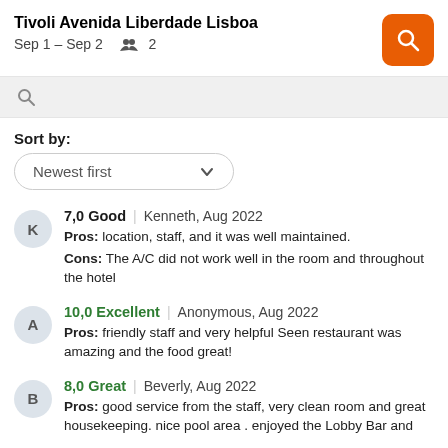Tivoli Avenida Liberdade Lisboa
Sep 1 – Sep 2   2
Sort by:
Newest first
7,0 Good | Kenneth, Aug 2022
Pros: location, staff, and it was well maintained.
Cons: The A/C did not work well in the room and throughout the hotel
10,0 Excellent | Anonymous, Aug 2022
Pros: friendly staff and very helpful Seen restaurant was amazing and the food great!
8,0 Great | Beverly, Aug 2022
Pros: good service from the staff, very clean room and great housekeeping. nice pool area . enjoyed the Lobby Bar and